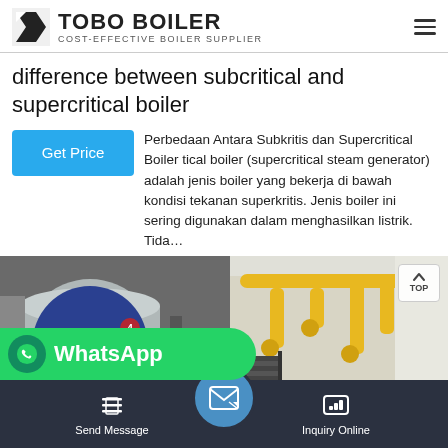TOBO BOILER — COST-EFFECTIVE BOILER SUPPLIER
difference between subcritical and supercritical boiler
Perbedaan Antara Subkritis dan Supercritical Boiler tical boiler (supercritical steam generator) adalah jenis boiler yang bekerja di bawah kondisi tekanan superkritis. Jenis boiler ini sering digunakan dalam menghasilkan listrik. Tida…
[Figure (photo): Industrial boiler facility showing a large cylindrical blue boiler unit on the left with yellow piping system overhead on the right side of the facility interior]
WhatsApp
Send Message | Inquiry Online